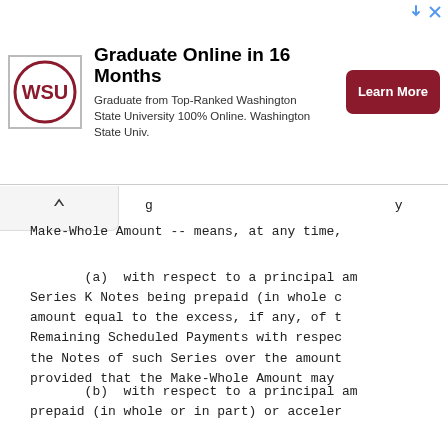[Figure (other): Advertisement banner for Washington State University online graduate program with WSU logo, headline 'Graduate Online in 16 Months', body text, and 'Learn More' red button]
Make-Whole Amount -- means, at any time,
(a)  with respect to a principal am Series K Notes being prepaid (in whole c amount equal to the excess, if any, of t Remaining Scheduled Payments with respec the Notes of such Series over the amount provided that the Make-Whole Amount may
(b)  with respect to a principal am prepaid (in whole or in part) or acceler compensate the holder of such Series J N any, determined in accordance with the m used by such holder; and
(c)  with respect to a principal am